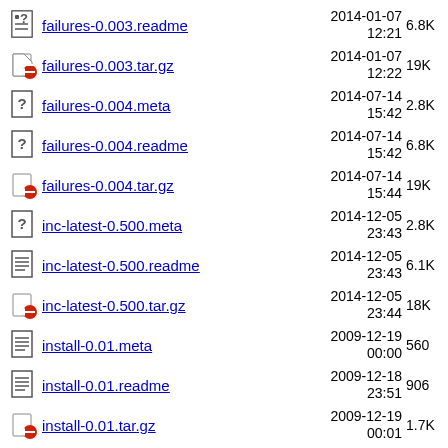failures-0.003.readme  2014-01-07 12:21  6.8K
failures-0.003.tar.gz  2014-01-07 12:22  19K
failures-0.004.meta  2014-07-14 15:42  2.8K
failures-0.004.readme  2014-07-14 15:42  6.8K
failures-0.004.tar.gz  2014-07-14 15:44  19K
inc-latest-0.500.meta  2014-12-05 23:43  2.8K
inc-latest-0.500.readme  2014-12-05 23:43  6.1K
inc-latest-0.500.tar.gz  2014-12-05 23:44  18K
install-0.01.meta  2009-12-19 00:00  560
install-0.01.readme  2009-12-18 23:51  906
install-0.01.tar.gz  2009-12-19 00:01  1.7K